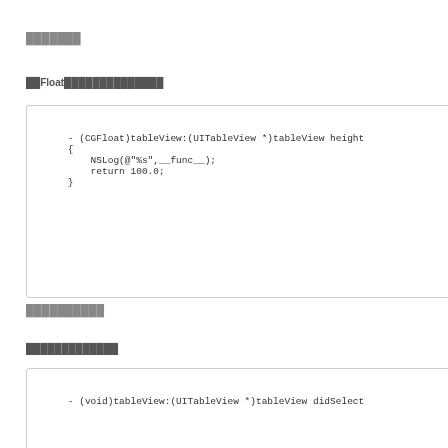███████
██Float██████████████
- (CGFloat)tableView:(UITableView *)tableView height
{
    NSLog(@"%s",__func__);
    return 100.0;
}
██████████
█████████████
- (void)tableView:(UITableView *)tableView didSelect